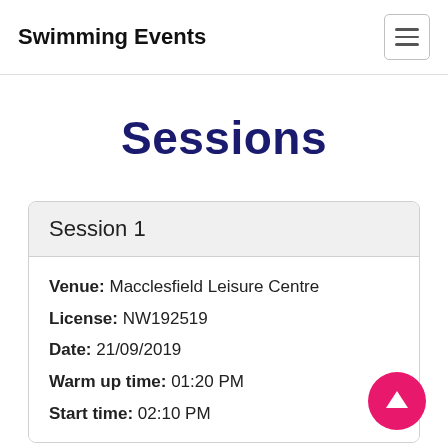Swimming Events
Sessions
Session 1
Venue: Macclesfield Leisure Centre
License: NW192519
Date: 21/09/2019
Warm up time: 01:20 PM
Start time: 02:10 PM